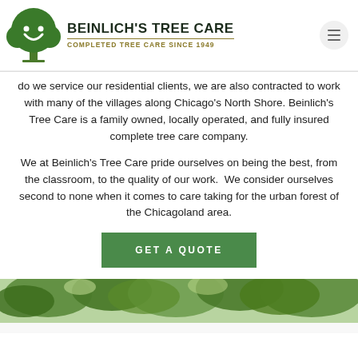[Figure (logo): Beinlich's Tree Care logo: green tree with white smiley face, beside bold text 'BEINLICH'S TREE CARE' and tagline 'COMPLETED TREE CARE SINCE 1949']
do we service our residential clients, we are also contracted to work with many of the villages along Chicago's North Shore. Beinlich's Tree Care is a family owned, locally operated, and fully insured complete tree care company.
We at Beinlich's Tree Care pride ourselves on being the best, from the classroom, to the quality of our work.  We consider ourselves second to none when it comes to care taking for the urban forest of the Chicagoland area.
GET A QUOTE
[Figure (photo): Photo of tree canopy with green leaves against sky]